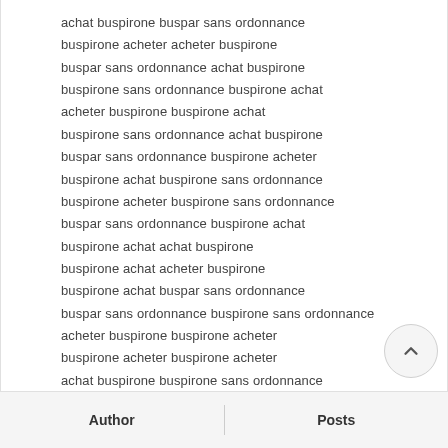achat buspirone buspar sans ordonnance
buspirone acheter acheter buspirone
buspar sans ordonnance achat buspirone
buspirone sans ordonnance buspirone achat
acheter buspirone buspirone achat
buspirone sans ordonnance achat buspirone
buspar sans ordonnance buspirone acheter
buspirone achat buspirone sans ordonnance
buspirone acheter buspirone sans ordonnance
buspar sans ordonnance buspirone achat
buspirone achat achat buspirone
buspirone achat acheter buspirone
buspirone achat buspar sans ordonnance
buspar sans ordonnance buspirone sans ordonnance
acheter buspirone buspirone acheter
buspirone acheter buspirone acheter
achat buspirone buspirone sans ordonnance
buspirone sans ordonnance buspar sans ordonnance
buspirone acheter buspirone achat
buspirone achat buspirone acheter
acheter buspirone buspar sans ordonnance
buspar sans ordonnance buspar sans ordonnance
Author   Posts